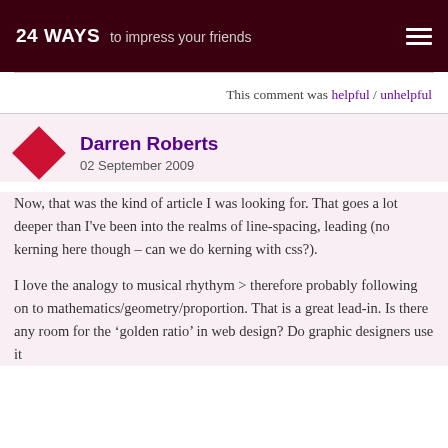24 WAYS to impress your friends
This comment was helpful / unhelpful
Darren Roberts
02 September 2009
Now, that was the kind of article I was looking for. That goes a lot deeper than I've been into the realms of line-spacing, leading (no kerning here though – can we do kerning with css?).
I love the analogy to musical rhythym > therefore probably following on to mathematics/geometry/proportion. That is a great lead-in. Is there any room for the 'golden ratio' in web design? Do graphic designers use it